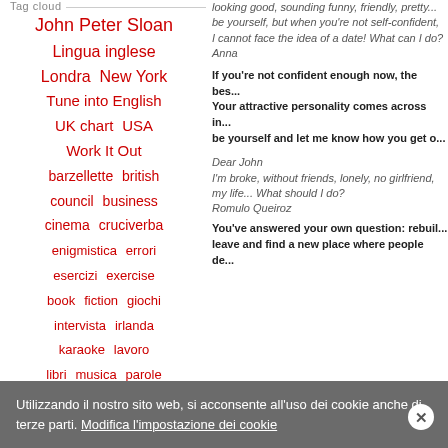Tag cloud
John Peter Sloan
Lingua inglese
Londra  New York
Tune into English
UK chart  USA
Work It Out
barzellette  british
council  business
cinema  cruciverba
enigmistica  errori
esercizi  exercise
book  fiction  giochi
intervista  irlanda
karaoke  lavoro
libri  musica  parole
crociate  racconto
breve  short story
soluzioni  top 10
looking good, sounding funny, friendly, pretty... be yourself, but when you're not self-confident, I cannot face the idea of a date! What can I do? Anna
If you're not confident enough now, the best... Your attractive personality comes across in... be yourself and let me know how you get o...
Dear John
I'm broke, without friends, lonely, no girlfriend, my life... What should I do?
Romulo Queiroz
You've answered your own question: rebuil... leave and find a new place where people de...
Utilizzando il nostro sito web, si acconsente all'uso dei cookie anche di terze parti. Modifica l'impostazione dei cookie